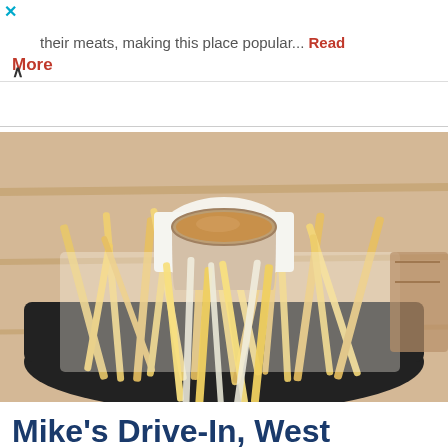their meats, making this place popular... Read More
[Figure (photo): A basket of seasoned French fries with a small cup of dipping sauce placed on a wooden table background.]
Mike's Drive-In, West Frankfort, IL